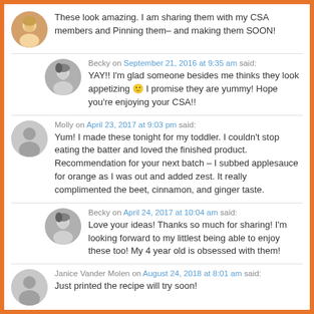These look amazing. I am sharing them with my CSA members and Pinning them– and making them SOON!
Becky on September 21, 2016 at 9:35 am said: YAY!! I'm glad someone besides me thinks they look appetizing 🙂 I promise they are yummy! Hope you're enjoying your CSA!!
Molly on April 23, 2017 at 9:03 pm said: Yum! I made these tonight for my toddler. I couldn't stop eating the batter and loved the finished product. Recommendation for your next batch – I subbed applesauce for orange as I was out and added zest. It really complimented the beet, cinnamon, and ginger taste.
Becky on April 24, 2017 at 10:04 am said: Love your ideas! Thanks so much for sharing! I'm looking forward to my littlest being able to enjoy these too! My 4 year old is obsessed with them!
Janice Vander Molen on August 24, 2018 at 8:01 am said: Just printed the recipe will try soon!